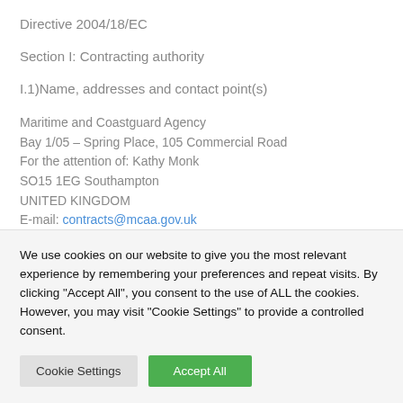Directive 2004/18/EC
Section I: Contracting authority
I.1)Name, addresses and contact point(s)
Maritime and Coastguard Agency
Bay 1/05 – Spring Place, 105 Commercial Road
For the attention of: Kathy Monk
SO15 1EG Southampton
UNITED KINGDOM
E-mail: contracts@mcaa.gov.uk
We use cookies on our website to give you the most relevant experience by remembering your preferences and repeat visits. By clicking "Accept All", you consent to the use of ALL the cookies. However, you may visit "Cookie Settings" to provide a controlled consent.